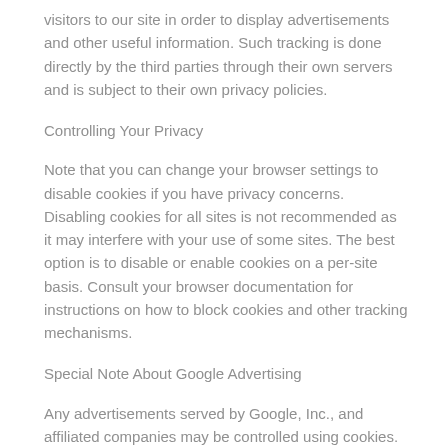visitors to our site in order to display advertisements and other useful information. Such tracking is done directly by the third parties through their own servers and is subject to their own privacy policies.
Controlling Your Privacy
Note that you can change your browser settings to disable cookies if you have privacy concerns. Disabling cookies for all sites is not recommended as it may interfere with your use of some sites. The best option is to disable or enable cookies on a per-site basis. Consult your browser documentation for instructions on how to block cookies and other tracking mechanisms.
Special Note About Google Advertising
Any advertisements served by Google, Inc., and affiliated companies may be controlled using cookies. These cookies allow Google to display ads